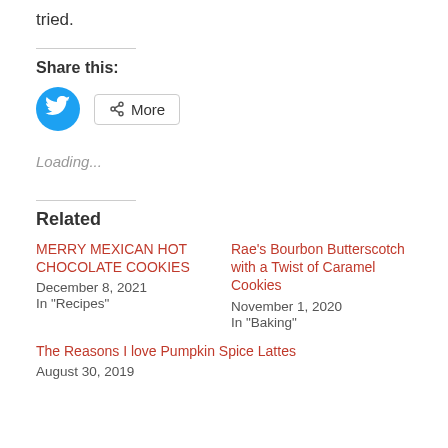tried.
Share this:
[Figure (other): Twitter share button (blue circle with bird icon) and a More share button with share icon]
Loading...
Related
MERRY MEXICAN HOT CHOCOLATE COOKIES
December 8, 2021
In "Recipes"
Rae's Bourbon Butterscotch with a Twist of Caramel Cookies
November 1, 2020
In "Baking"
The Reasons I love Pumpkin Spice Lattes
August 30, 2019